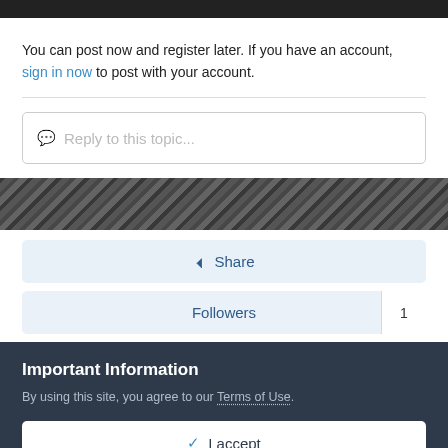You can post now and register later. If you have an account, sign in now to post with your account.
[Figure (screenshot): Reply to this topic input box with speech bubble icon placeholder]
[Figure (photo): Dark grayscale photographic image band across full width]
Share
Followers 1
Important Information
By using this site, you agree to our Terms of Use.
I accept